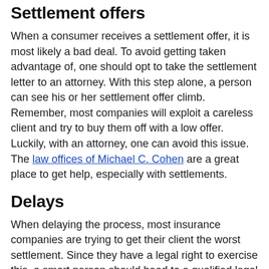Settlement offers
When a consumer receives a settlement offer, it is most likely a bad deal. To avoid getting taken advantage of, one should opt to take the settlement letter to an attorney. With this step alone, a person can see his or her settlement offer climb. Remember, most companies will exploit a careless client and try to buy them off with a low offer. Luckily, with an attorney, one can avoid this issue. The law offices of Michael C. Cohen are a great place to get help, especially with settlements.
Delays
When delaying the process, most insurance companies are trying to get their client the worst settlement. Since they have a legal right to exercise this, a smart person should head to a qualified legal expert who can decode the delays. Then, one can move on quickly and resolve the issue without any further wait.